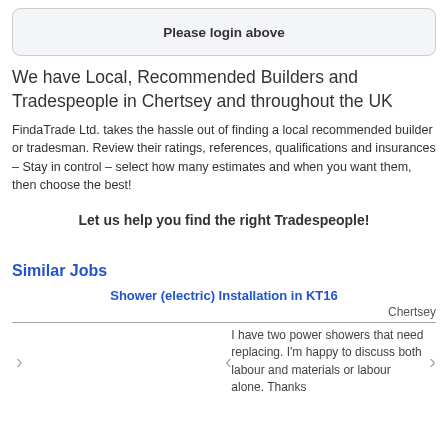Please login above
We have Local, Recommended Builders and Tradespeople in Chertsey and throughout the UK
FindaTrade Ltd. takes the hassle out of finding a local recommended builder or tradesman. Review their ratings, references, qualifications and insurances – Stay in control – select how many estimates and when you want them, then choose the best!
Let us help you find the right Tradespeople!
Similar Jobs
Shower (electric) Installation in KT16
Chertsey
I have two power showers that need replacing. I'm happy to discuss both labour and materials or labour alone. Thanks